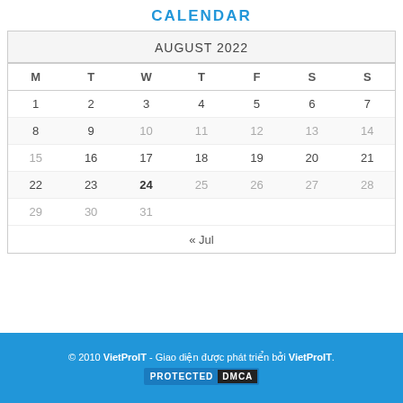CALENDAR
| M | T | W | T | F | S | S |
| --- | --- | --- | --- | --- | --- | --- |
| 1 | 2 | 3 | 4 | 5 | 6 | 7 |
| 8 | 9 | 10 | 11 | 12 | 13 | 14 |
| 15 | 16 | 17 | 18 | 19 | 20 | 21 |
| 22 | 23 | 24 | 25 | 26 | 27 | 28 |
| 29 | 30 | 31 |  |  |  |  |
« Jul
© 2010 VietProIT - Giao diện được phát triển bởi VietProIT. PROTECTED DMCA